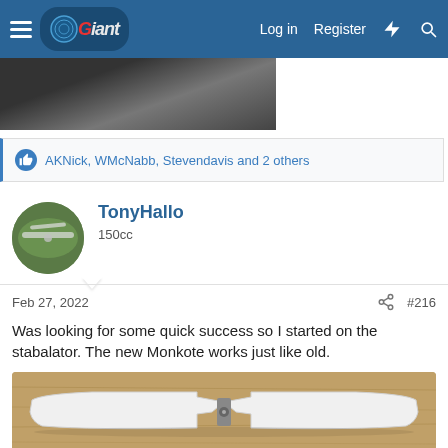Giant Scale RC forum — Log in  Register
[Figure (photo): Partial view of a model aircraft on a field, top portion cut off]
AKNick, WMcNabb, Stevendavis and 2 others
TonyHallo
150cc
Feb 27, 2022  #216
Was looking for some quick success so I started on the stabalator. The new Monkote works just like old.
[Figure (photo): A white model aircraft stabilator laid flat on a wooden workbench, viewed from above, showing two symmetrical halves joined at center]